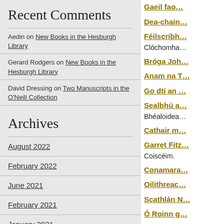Recent Comments
Aedin on New Books in the Hesburgh Library
Gerard Rodgers on New Books in the Hesburgh Library
David Dressing on Two Manuscripts in the O'Neill Collection
Archives
August 2022
February 2022
June 2021
February 2021
January 2021
December 2020
April 2020
March 2020
December 2019
Gaeil fao…
Dea-chain…
Féilscríbh…
Clóchomha…
Bróga Joh…
Anam na T…
Go dtí an …
Sealbhú a…
Bhéaloidea…
Cathair m…
Garret Fitz…
Coiscéim.
Conamara…
Oilithreac…
Scathlán N…
Ó Roinn g…